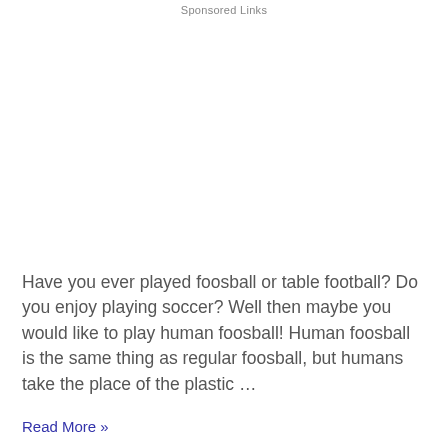Sponsored Links
Have you ever played foosball or table football?  Do you enjoy playing soccer? Well then maybe you would like to play human foosball! Human foosball is the same thing as regular foosball, but humans take the place of the plastic …
Read More »